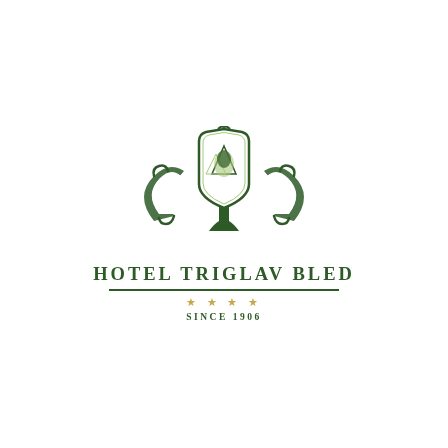[Figure (logo): Hotel Triglav Bled logo: an ornate Art Nouveau emblem with a shield containing a mountain/tree motif, flanked by decorative arch wings, with the text HOTEL TRIGLAV BLED, four gold stars, and SINCE 1906 below.]